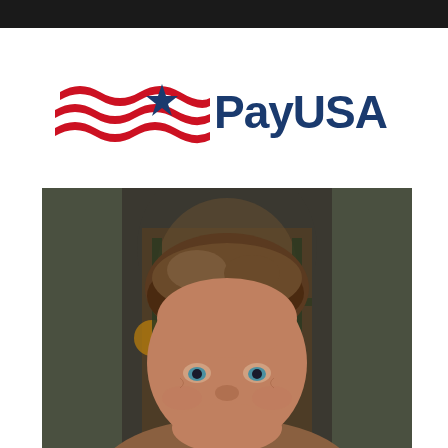[Figure (logo): PayUSA logo with American flag waves and star]
[Figure (photo): Headshot of a middle-aged man with brown hair, smiling slightly, in front of a gothic arched window background]